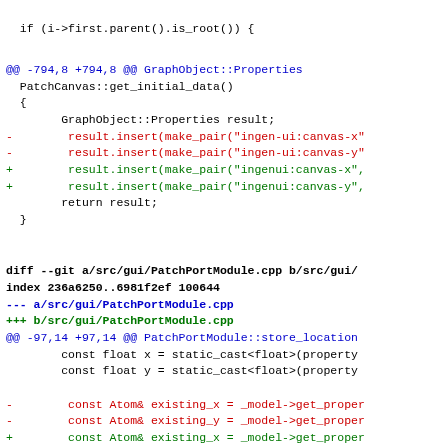if (i->first.parent().is_root()) {
@@ -794,8 +794,8 @@ GraphObject::Properties
  PatchCanvas::get_initial_data()
  {
        GraphObject::Properties result;
-        result.insert(make_pair("ingen-ui:canvas-x"
-        result.insert(make_pair("ingen-ui:canvas-y"
+        result.insert(make_pair("ingenui:canvas-x",
+        result.insert(make_pair("ingenui:canvas-y",
        return result;
  }
diff --git a/src/gui/PatchPortModule.cpp b/src/gui/
index 236a6250..6981f2ef 100644
--- a/src/gui/PatchPortModule.cpp
+++ b/src/gui/PatchPortModule.cpp
@@ -97,14 +97,14 @@ PatchPortModule::store_location
        const float x = static_cast<float>(property
        const float y = static_cast<float>(property

-        const Atom& existing_x = _model->get_proper
-        const Atom& existing_y = _model->get_proper
+        const Atom& existing_x = _model->get_proper
+        const Atom& existing_y = _model->get_proper

        if (existing_x.type() != Atom::FLOAT || exi
                        || existing_x.get_float() !
                Shared::Resource::Properties props;
-                props.insert(make_pair("ingen-ui:ca
-                props.insert(make_pair("ingen-ui:ca